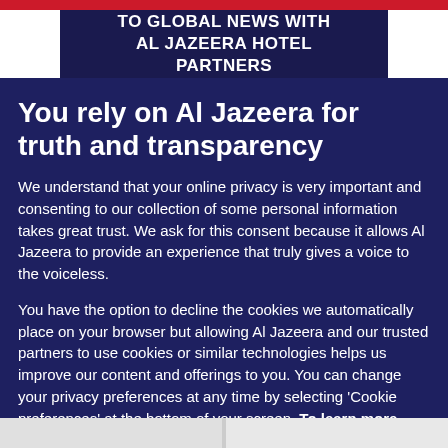TO GLOBAL NEWS WITH AL JAZEERA HOTEL PARTNERS
You rely on Al Jazeera for truth and transparency
We understand that your online privacy is very important and consenting to our collection of some personal information takes great trust. We ask for this consent because it allows Al Jazeera to provide an experience that truly gives a voice to the voiceless.
You have the option to decline the cookies we automatically place on your browser but allowing Al Jazeera and our trusted partners to use cookies or similar technologies helps us improve our content and offerings to you. You can change your privacy preferences at any time by selecting 'Cookie preferences' at the bottom of your screen. To learn more, please view our Cookie Policy.